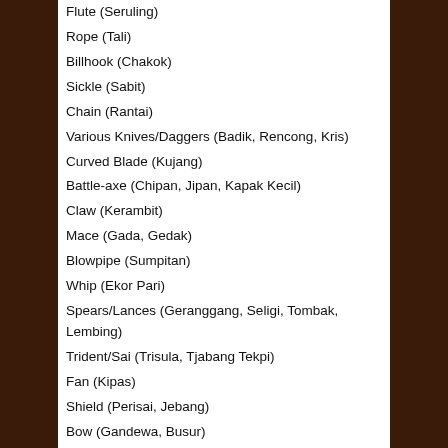Flute (Seruling)
Rope (Tali)
Billhook (Chakok)
Sickle (Sabit)
Chain (Rantai)
Various Knives/Daggers (Badik, Rencong, Kris)
Curved Blade (Kujang)
Battle-axe (Chipan, Jipan, Kapak Kecil)
Claw (Kerambit)
Mace (Gada, Gedak)
Blowpipe (Sumpitan)
Whip (Ekor Pari)
Spears/Lances (Geranggang, Seligi, Tombak, Lembing)
Trident/Sai (Trisula, Tjabang Tekpi)
Fan (Kipas)
Shield (Perisai, Jebang)
Bow (Gandewa, Busur)
Celebrity Silat Practitioners
Kathy Long